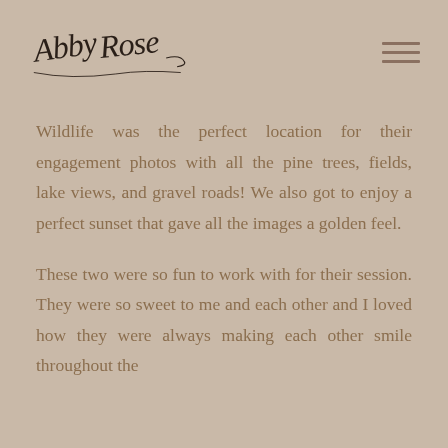[Figure (logo): Abby Rose cursive script logo in dark brown/black calligraphy]
Wildlife was the perfect location for their engagement photos with all the pine trees, fields, lake views, and gravel roads! We also got to enjoy a perfect sunset that gave all the images a golden feel.
These two were so fun to work with for their session. They were so sweet to me and each other and I loved how they were always making each other smile throughout the